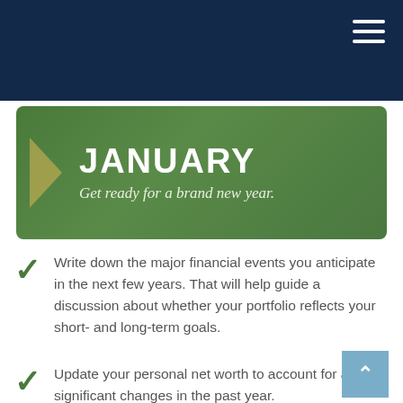[Figure (illustration): Green banner with arrow shape on left side, bold white text 'JANUARY' and italic subtitle 'Get ready for a brand new year.']
Write down the major financial events you anticipate in the next few years. That will help guide a discussion about whether your portfolio reflects your short- and long-term goals.
Update your personal net worth to account for any significant changes in the past year.
Double-check your employer-sponsored retirement